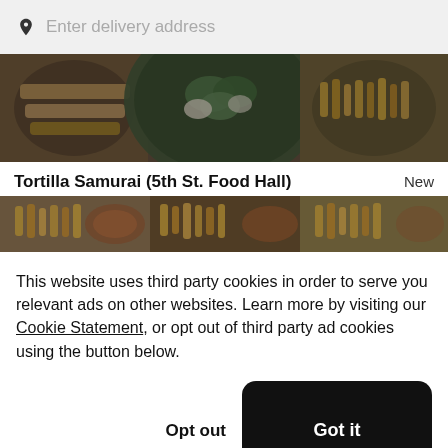Enter delivery address
[Figure (photo): Food photo showing plates of food from above including a bowl with salad/greens and plates with various dishes, dark overlay]
Tortilla Samurai (5th St. Food Hall)
New
[Figure (photo): Food photo showing plates with various dishes including what appears to be fries and other food, partial view]
This website uses third party cookies in order to serve you relevant ads on other websites. Learn more by visiting our Cookie Statement, or opt out of third party ad cookies using the button below.
Opt out
Got it